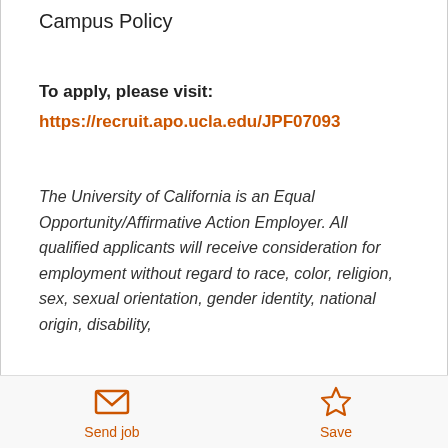Campus Policy
To apply, please visit:
https://recruit.apo.ucla.edu/JPF07093
The University of California is an Equal Opportunity/Affirmative Action Employer. All qualified applicants will receive consideration for employment without regard to race, color, religion, sex, sexual orientation, gender identity, national origin, disability,
Send job   Save